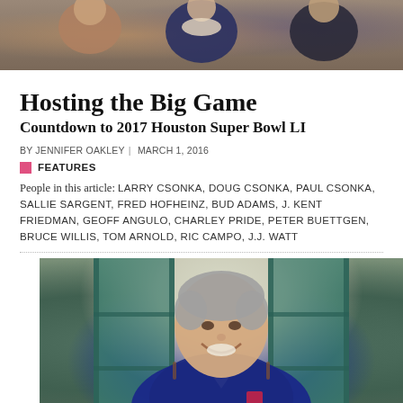[Figure (photo): Top photo showing people at an event, partially visible at top of page]
Hosting the Big Game
Countdown to 2017 Houston Super Bowl LI
BY JENNIFER OAKLEY | MARCH 1, 2016
FEATURES
People in this article: LARRY CSONKA, DOUG CSONKA, PAUL CSONKA, SALLIE SARGENT, FRED HOFHEINZ, BUD ADAMS, J. KENT FRIEDMAN, GEOFF ANGULO, CHARLEY PRIDE, PETER BUETTGEN, BRUCE WILLIS, TOM ARNOLD, RIC CAMPO, J.J. WATT
[Figure (photo): Smiling man in navy blue sweater standing in front of teal/green doors]